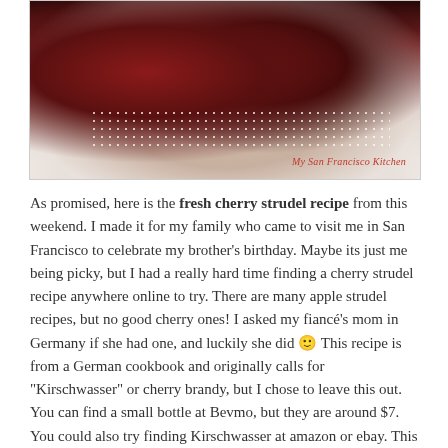[Figure (photo): Close-up photo of a fresh cherry strudel slice showing dark cherries and pastry on a white surface, with watermark 'My San Francisco Kitchen' in red italic script at bottom right]
As promised, here is the fresh cherry strudel recipe from this weekend. I made it for my family who came to visit me in San Francisco to celebrate my brother's birthday. Maybe its just me being picky, but I had a really hard time finding a cherry strudel recipe anywhere online to try. There are many apple strudel recipes, but no good cherry ones! I asked my fiancé's mom in Germany if she had one, and luckily she did 🙂 This recipe is from a German cookbook and originally calls for "Kirschwasser" or cherry brandy, but I chose to leave this out. You can find a small bottle at Bevmo, but they are around $7. You could also try finding Kirschwasser at amazon or ebay. This cherry strudel is not too sweet, so it can be served with tea in the afternoon, or even at breakfast. The only problem I had was some of the cherries leaked out (see photo below). I am not sure if rolling it tighter would help, or if I just overfilled it, if